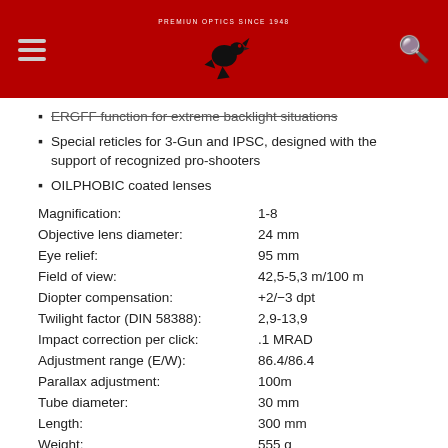Header bar with logo and navigation
ERGFF function for extreme backlight situations (struck through / cut off)
Special reticles for 3-Gun and IPSC, designed with the support of recognized pro-shooters
OILPHOBIC coated lenses
| Specification | Value |
| --- | --- |
| Magnification: | 1-8 |
| Objective lens diameter: | 24 mm |
| Eye relief: | 95 mm |
| Field of view: | 42,5-5,3 m/100 m |
| Diopter compensation: | +2/−3 dpt |
| Twilight factor (DIN 58388): | 2,9-13,9 |
| Impact correction per click: | .1 MRAD |
| Adjustment range (E/W): | 86.4/86.4 |
| Parallax adjustment: | 100m |
| Tube diameter: | 30 mm |
| Length: | 300 mm |
| Weight: | 555 g |
| Focal plane: | 2 |